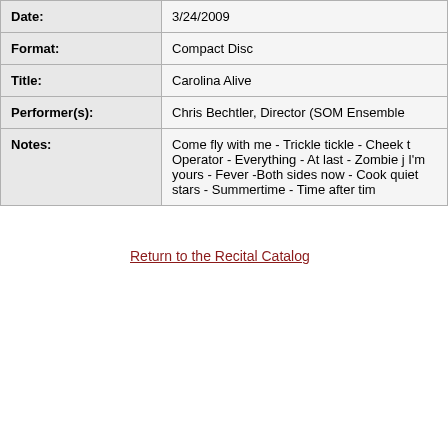| Field | Value |
| --- | --- |
| Date: | 3/24/2009 |
| Format: | Compact Disc |
| Title: | Carolina Alive |
| Performer(s): | Chris Bechtler, Director (SOM Ensemble |
| Notes: | Come fly with me - Trickle tickle - Cheek t Operator - Everything - At last - Zombie j I'm yours - Fever -Both sides now - Cook quiet stars - Summertime - Time after tim |
Return to the Recital Catalog